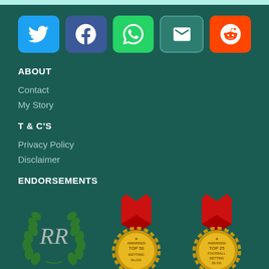[Figure (infographic): Social media share buttons row: Twitter (blue), Facebook (dark blue), WhatsApp (green), Email (teal), Reddit (orange)]
ABOUT
Contact
My Story
T & C'S
Privacy Policy
Disclaimer
ENDORSEMENTS
[Figure (logo): Three endorsement badges: RR laurel wreath logo, Awarded Top 50 Betting Blog medal, Awarded Top 25 Football Betting Blog medal]